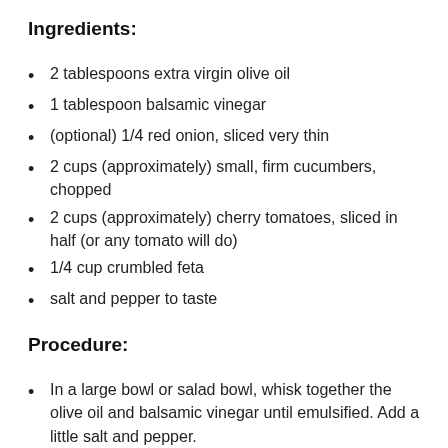Ingredients:
2 tablespoons extra virgin olive oil
1 tablespoon balsamic vinegar
(optional) 1/4 red onion, sliced very thin
2 cups (approximately) small, firm cucumbers, chopped
2 cups (approximately) cherry tomatoes, sliced in half (or any tomato will do)
1/4 cup crumbled feta
salt and pepper to taste
Procedure:
In a large bowl or salad bowl, whisk together the olive oil and balsamic vinegar until emulsified. Add a little salt and pepper.
Add the red onions, if using, and allow to sit in the